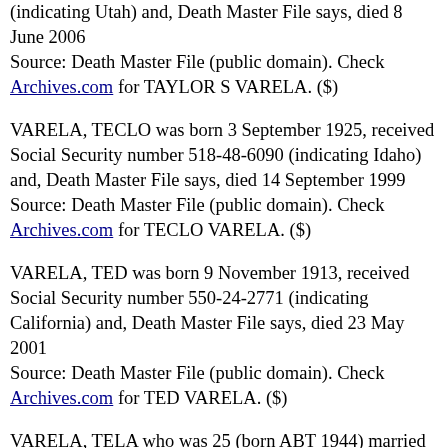(indicating Utah) and, Death Master File says, died 8 June 2006
Source: Death Master File (public domain). Check Archives.com for TAYLOR S VARELA. ($)
VARELA, TECLO was born 3 September 1925, received Social Security number 518-48-6090 (indicating Idaho) and, Death Master File says, died 14 September 1999
Source: Death Master File (public domain). Check Archives.com for TECLO VARELA. ($)
VARELA, TED was born 9 November 1913, received Social Security number 550-24-2771 (indicating California) and, Death Master File says, died 23 May 2001
Source: Death Master File (public domain). Check Archives.com for TED VARELA. ($)
VARELA, TELA who was 25 (born ABT 1944) married 23 JAN 1969 in WILBARGER COUNTY, TEXAS,